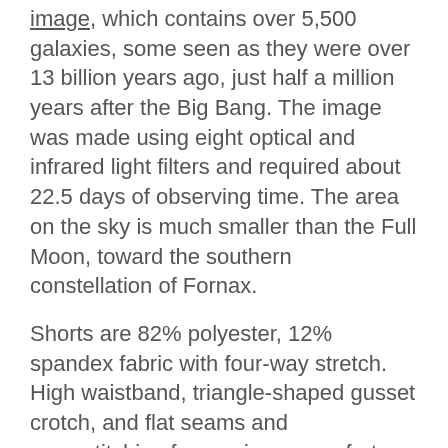image, which contains over 5,500 galaxies, some seen as they were over 13 billion years ago, just half a million years after the Big Bang. The image was made using eight optical and infrared light filters and required about 22.5 days of observing time. The area on the sky is much smaller than the Full Moon, toward the southern constellation of Fornax.
Shorts are 82% polyester, 12% spandex fabric with four-way stretch. High waistband, triangle-shaped gusset crotch, and flat seams and coverstitching for maximum comfort. Double-layered waistband with 1-inch elastic and a pocket in the back for a phone and keys. Inseam length (crotch to hem) is 9 to 10 inches depending on size, and rise (crotch to top of waistband) is 10 to 11.5 inches. Blank product components sourced from China or Lithuania.
Shop all Galaxies   Learn more about Galaxies   Shop all Hubble Space Telescope